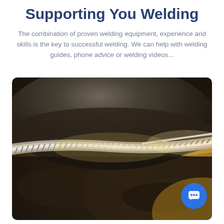Supporting You Welding
The combination of proven welding equipment, experience and skills is the key to successful welding. We can help with welding guides, phone advice or welding videos...
[Figure (photo): Close-up photograph of a TIG weld bead on a curved metal surface, showing a neat rippled weld seam along a pipe joint with bright highlights and warm metallic tones.]